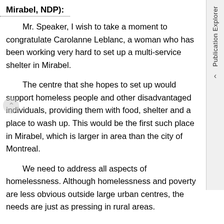Mirabel, NDP):
Mr. Speaker, I wish to take a moment to congratulate Carolanne Leblanc, a woman who has been working very hard to set up a multi-service shelter in Mirabel.
The centre that she hopes to set up would support homeless people and other disadvantaged individuals, providing them with food, shelter and a place to wash up. This would be the first such place in Mirabel, which is larger in area than the city of Montreal.
We need to address all aspects of homelessness. Although homelessness and poverty are less obvious outside large urban centres, the needs are just as pressing in rural areas.